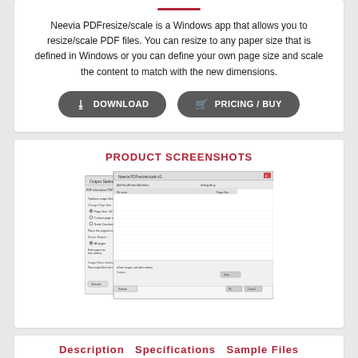Neevia PDFresize/scale is a Windows app that allows you to resize/scale PDF files. You can resize to any paper size that is defined in Windows or you can define your own page size and scale the content to match with the new dimensions.
[Figure (infographic): Two buttons: DOWNLOAD and PRICING / BUY]
PRODUCT SCREENSHOTS
[Figure (screenshot): Screenshot of Neevia PDFresize/scale application showing Output Settings dialog with options for PDF information, PDF Security, PDF Initial View, General Settings. Overlapping second dialog window visible.]
Description  Specifications  Sample Files